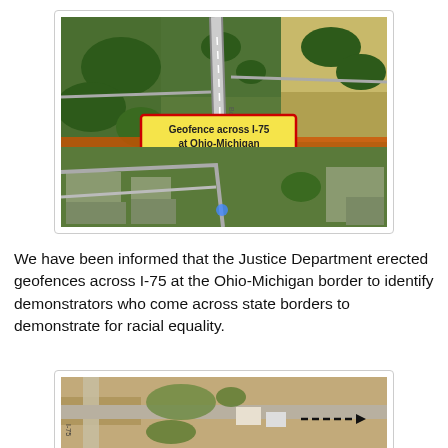[Figure (map): Aerial satellite map showing I-75 highway at the Ohio-Michigan border. A yellow highlighted label with red border reads 'Geofence across I-75 at Ohio-Michigan border'. An orange/red horizontal line crosses the highway indicating the geofence location.]
We have been informed that the Justice Department erected geofences across I-75 at the Ohio-Michigan border to identify demonstrators who come across state borders to demonstrate for racial equality.
[Figure (map): Partial aerial satellite map showing a road intersection with a dashed arrow pointing to the right, partially cut off at the bottom of the page.]